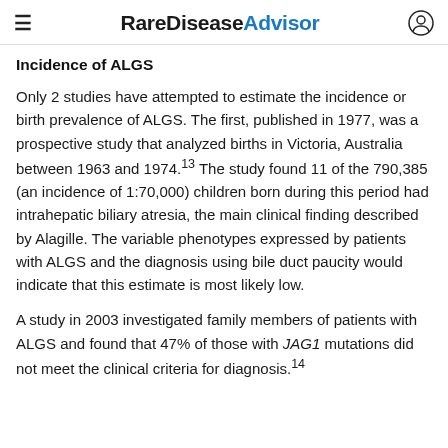Rare Disease Advisor
Incidence of ALGS
Only 2 studies have attempted to estimate the incidence or birth prevalence of ALGS. The first, published in 1977, was a prospective study that analyzed births in Victoria, Australia between 1963 and 1974.13 The study found 11 of the 790,385 (an incidence of 1:70,000) children born during this period had intrahepatic biliary atresia, the main clinical finding described by Alagille. The variable phenotypes expressed by patients with ALGS and the diagnosis using bile duct paucity would indicate that this estimate is most likely low.
A study in 2003 investigated family members of patients with ALGS and found that 47% of those with JAG1 mutations did not meet the clinical criteria for diagnosis.14